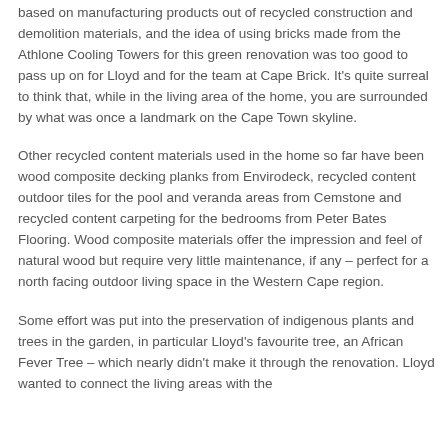aggregate material. Cape Brick is a company whose business is based on manufacturing products out of recycled construction and demolition materials, and the idea of using bricks made from the Athlone Cooling Towers for this green renovation was too good to pass up on for Lloyd and for the team at Cape Brick. It's quite surreal to think that, while in the living area of the home, you are surrounded by what was once a landmark on the Cape Town skyline.
Other recycled content materials used in the home so far have been wood composite decking planks from Envirodeck, recycled content outdoor tiles for the pool and veranda areas from Cemstone and recycled content carpeting for the bedrooms from Peter Bates Flooring. Wood composite materials offer the impression and feel of natural wood but require very little maintenance, if any – perfect for a north facing outdoor living space in the Western Cape region.
Some effort was put into the preservation of indigenous plants and trees in the garden, in particular Lloyd's favourite tree, an African Fever Tree – which nearly didn't make it through the renovation. Lloyd wanted to connect the living areas with the